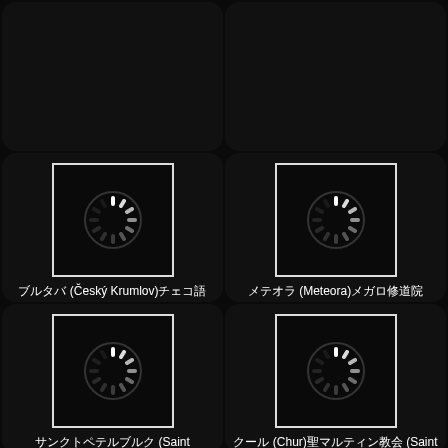[Figure (photo): Empty dark card, top-left]
[Figure (photo): Empty dark card, top-right]
[Figure (photo): Loading spinner image placeholder for Český Krumlov card]
ブルタバ (Český Krumlov)チェコ語
[Figure (photo): Loading spinner image placeholder for Meteora card]
メテオラ (Meteora)メガロ修道院 (Monastery of Great Meteoron)
[Figure (photo): Loading spinner image placeholder for Saint Petersburg card]
サンクトペテルブルク (Saint Petersburg)マルスの野 (Field of Mars) ミハイロフスキー城 (Saint Michael's Castle)
[Figure (photo): Loading spinner image placeholder for Chur card]
クール (Chur)聖マルティン教会 (Saint Martin's Church)